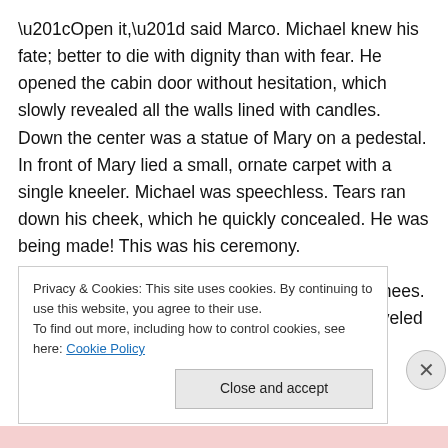“Open it,” said Marco. Michael knew his fate; better to die with dignity than with fear. He opened the cabin door without hesitation, which slowly revealed all the walls lined with candles. Down the center was a statue of Mary on a pedestal. In front of Mary lied a small, ornate carpet with a single kneeler. Michael was speechless. Tears ran down his cheek, which he quickly concealed. He was being made! This was his ceremony.
Michael walked to the kneeler and bent to his knees. The rest of them stood before him. Donny unraveled the
Privacy & Cookies: This site uses cookies. By continuing to use this website, you agree to their use.
To find out more, including how to control cookies, see here: Cookie Policy